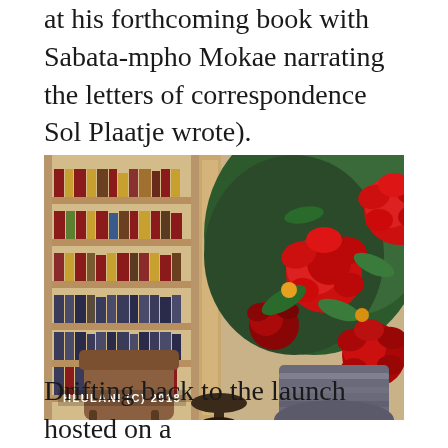at his forthcoming book with Sabata-mpho Mokae narrating the letters of correspondence Sol Plaatje wrote).
[Figure (photo): Interior photo of a library/reading room with wooden bookshelves filled with books on the left, a leather chair and small round table in the foreground, and a large vase of red roses and green foliage on the right. Watermark reads HLULANI (C) 2018.]
Drifting back to the launch hosted on a